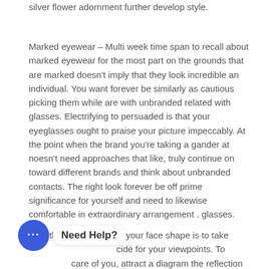silver flower adornment further develop style.
Marked eyewear – Multi week time span to recall about marked eyewear for the most part on the grounds that are marked doesn't imply that they look incredible an individual. You want forever be similarly as cautious picking them while are with unbranded related with glasses. Electrifying to persuaded is that your eyeglasses ought to praise your picture impeccably. At the point when the brand you're taking a gander at noesn't need approaches that like, truly continue on toward different brands and think about unbranded contacts. The right look forever be off prime significance for yourself and need to likewise comfortable in extraordinary arrangement . glasses.
A method for examining your face shape is to take g Need Help? cide for your viewpoints. To care of you, attract a diagram the reflection of the face with lipstick or utilize your finger in excess of a